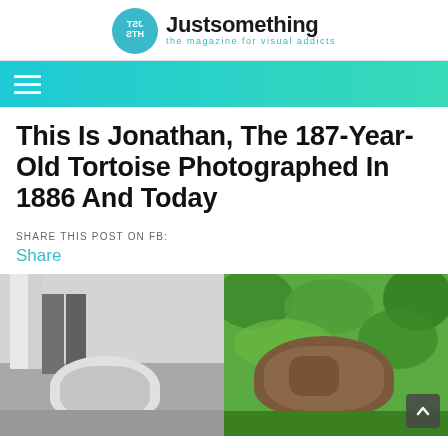Justsomething – the magazine for visual addicts
This Is Jonathan, The 187-Year-Old Tortoise Photographed In 1886 And Today
SHARE THIS POST ON FB:
Share
[Figure (photo): Left: black-and-white historical photograph from 1886 showing a tortoise on the ground with people's legs visible above. Right: modern color photograph of a tortoise close-up surrounded by green foliage.]